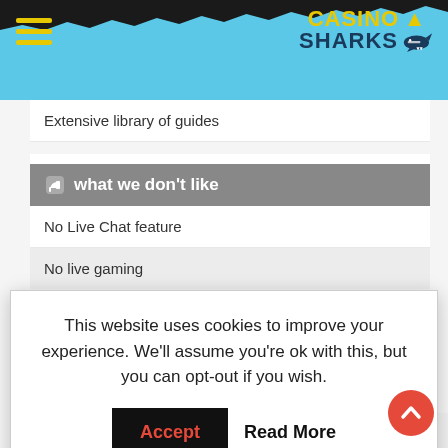Casino A Sharks
Extensive library of guides
what we don't like
No Live Chat feature
No live gaming
Fast & Sexy
This website uses cookies to improve your experience. We'll assume you're ok with this, but you can opt-out if you wish.
but the Bovada s it by name. Betting ved in North America. Players in the United States seem especially